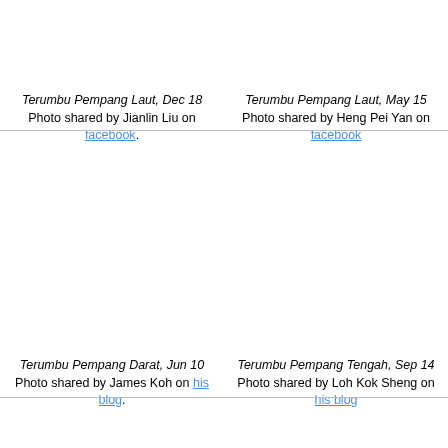Terumbu Pempang Laut, Dec 18
Photo shared by Jianlin Liu on facebook.
Terumbu Pempang Laut, May 15
Photo shared by Heng Pei Yan on facebook.
Terumbu Pempang Darat, Jun 10
Photo shared by James Koh on his blog.
Terumbu Pempang Tengah, Sep 14
Photo shared by Loh Kok Sheng on his blog.